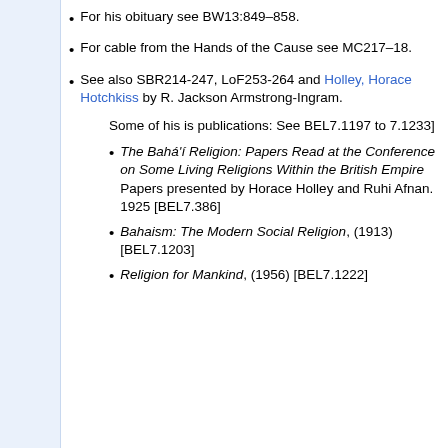For his obituary see BW13:849–858.
For cable from the Hands of the Cause see MC217–18.
See also SBR214-247, LoF253-264 and Holley, Horace Hotchkiss by R. Jackson Armstrong-Ingram.
Some of his is publications: See BEL7.1197 to 7.1233]
The Bahá'í Religion: Papers Read at the Conference on Some Living Religions Within the British Empire Papers presented by Horace Holley and Ruhi Afnan. 1925 [BEL7.386]
Bahaism: The Modern Social Religion, (1913) [BEL7.1203]
Religion for Mankind, (1956) [BEL7.1222]